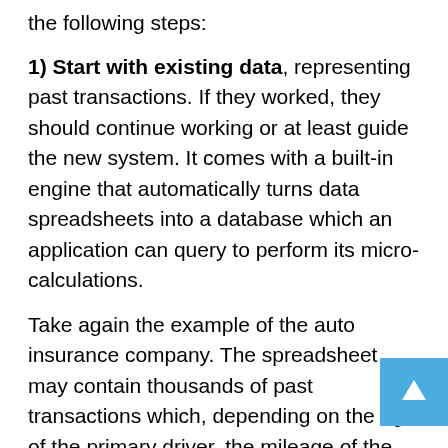the following steps:
1) Start with existing data, representing past transactions. If they worked, they should continue working or at least guide the new system. It comes with a built-in engine that automatically turns data spreadsheets into a database which an application can query to perform its micro-calculations.
Take again the example of the auto insurance company. The spreadsheet may contain thousands of past transactions which, depending on the age of the primary driver, the mileage of the car, and other criteria, provides the price for this configuration. But often this price is the same for other configurations, and parts of the configuration at hand appear in